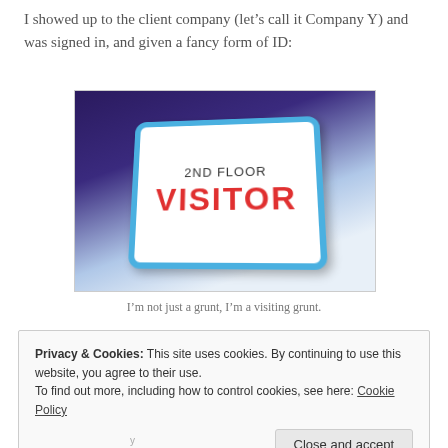I showed up to the client company (let’s call it Company Y) and was signed in, and given a fancy form of ID:
[Figure (photo): A visitor badge with a blue rounded border on a white card reading '2ND FLOOR' in dark letters and 'VISITOR' in large red letters, photographed at an angle against a dark purple background.]
I’m not just a grunt, I’m a visiting grunt.
Privacy & Cookies: This site uses cookies. By continuing to use this website, you agree to their use.
To find out more, including how to control cookies, see here: Cookie Policy
Close and accept